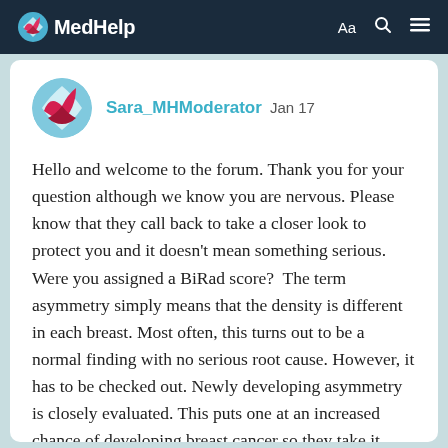MedHelp
Sara_MHModerator Jan 17
Hello and welcome to the forum. Thank you for your question although we know you are nervous. Please know that they call back to take a closer look to protect you and it doesn't mean something serious.  Were you assigned a BiRad score?  The term asymmetry simply means that the density is different in each breast. Most often, this turns out to be a normal finding with no serious root cause. However, it has to be checked out. Newly developing asymmetry is closely evaluated. This puts one at an increased chance of developing breast cancer so they take it seriously and evaluate. But remember too that hormonal